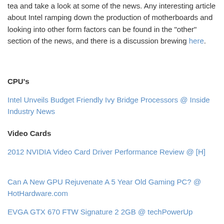tea and take a look at some of the news. Any interesting article about Intel ramping down the production of motherboards and looking into other form factors can be found in the "other" section of the news, and there is a discussion brewing here.
CPU's
Intel Unveils Budget Friendly Ivy Bridge Processors @ Inside Industry News
Video Cards
2012 NVIDIA Video Card Driver Performance Review @ [H]
Can A New GPU Rejuvenate A 5 Year Old Gaming PC? @ HotHardware.com
EVGA GTX 670 FTW Signature 2 2GB @ techPowerUp